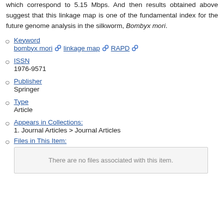which correspond to 5.15 Mbps. And then results obtained above suggest that this linkage map is one of the fundamental index for the future genome analysis in the silkworm, Bombyx mori.
Keyword
bombyx mori  linkage map  RAPD
ISSN
1976-9571
Publisher
Springer
Type
Article
Appears in Collections:
1. Journal Articles > Journal Articles
Files in This Item:
There are no files associated with this item.